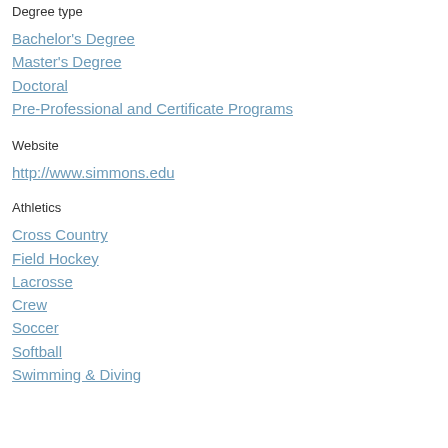Degree type
Bachelor's Degree
Master's Degree
Doctoral
Pre-Professional and Certificate Programs
Website
http://www.simmons.edu
Athletics
Cross Country
Field Hockey
Lacrosse
Crew
Soccer
Softball
Swimming & Diving